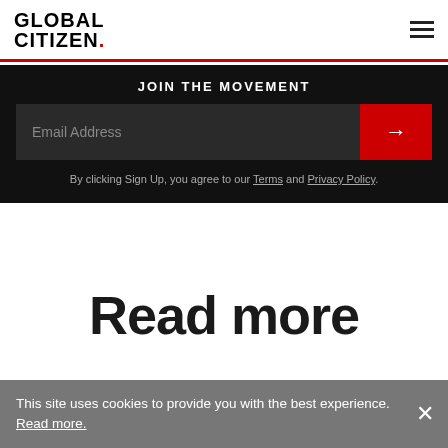GLOBAL CITIZEN.
JOIN THE MOVEMENT
Email Address
By clicking Sign Up, you agree to our Terms and Privacy Policy.
Read more
This site uses cookies to provide you with the best experience. Read more.